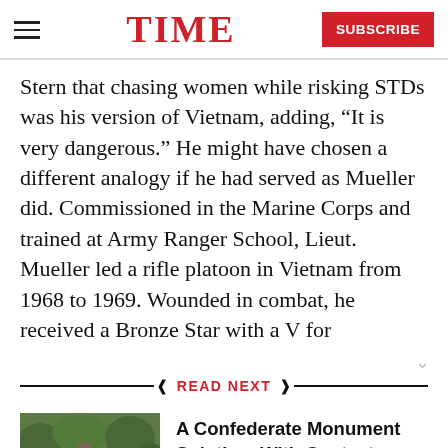TIME
Stern that chasing women while risking STDs was his version of Vietnam, adding, “It is very dangerous.” He might have chosen a different analogy if he had served as Mueller did. Commissioned in the Marine Corps and trained at Army Ranger School, Lieut. Mueller led a rifle platoon in Vietnam from 1968 to 1969. Wounded in combat, he received a Bronze Star with a V for
READ NEXT
[Figure (photo): A statue of a Confederate soldier figure in a green outdoor setting]
A Confederate Monument Solution, With Context